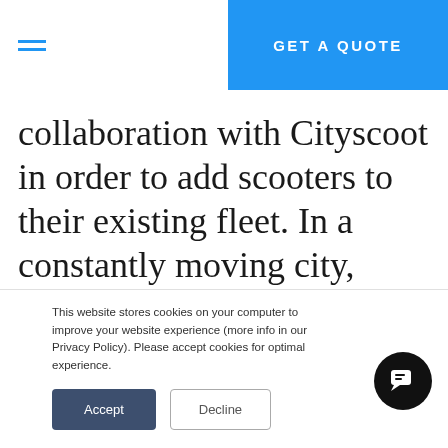GET A QUOTE
collaboration with Cityscoot in order to add scooters to their existing fleet. In a constantly moving city, providing more flexible and easy to use alternatives is a way to adapt to the local habits. Besides Paris, Uber is also
This website stores cookies on your computer to improve your website experience (more info in our Privacy Policy). Please accept cookies for optimal experience.